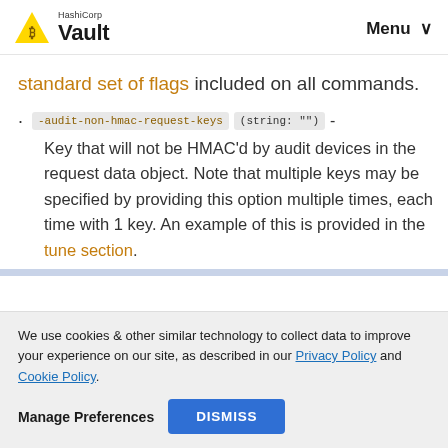HashiCorp Vault | Menu
standard set of flags included on all commands.
-audit-non-hmac-request-keys (string: "") - Key that will not be HMAC'd by audit devices in the request data object. Note that multiple keys may be specified by providing this option multiple times, each time with 1 key. An example of this is provided in the tune section.
We use cookies & other similar technology to collect data to improve your experience on our site, as described in our Privacy Policy and Cookie Policy.
Manage Preferences   DISMISS